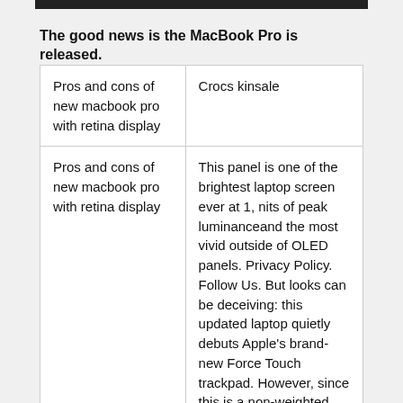The good news is the MacBook Pro is released.
| Pros and cons of new macbook pro with retina display | Crocs kinsale |
| Pros and cons of new macbook pro with retina display | This panel is one of the brightest laptop screen ever at 1, nits of peak luminanceand the most vivid outside of OLED panels. Privacy Policy. Follow Us. But looks can be deceiving: this updated laptop quietly debuts Apple's brand-new Force Touch trackpad. However, since this is a non-weighted average, we |